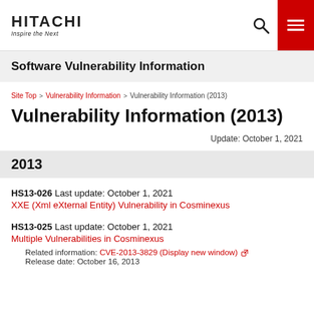HITACHI Inspire the Next — Software Vulnerability Information
Software Vulnerability Information
Site Top > Vulnerability Information > Vulnerability Information (2013)
Vulnerability Information (2013)
Update: October 1, 2021
2013
HS13-026 Last update: October 1, 2021
XXE (Xml eXternal Entity) Vulnerability in Cosminexus
HS13-025 Last update: October 1, 2021
Multiple Vulnerabilities in Cosminexus
Related information: CVE-2013-3829 (Display new window)
Release date: October 16, 2013